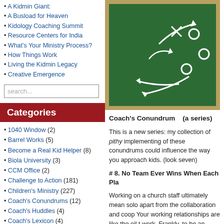A Busload for Heaven
Kidology Coaching Summit
Resource Centers for India
What's Your Ministry Process?
How Things Work
Living the Kidmin Legacy
Creative Emergence
search...
Categories
1040 Window (2)
Barrel Works (5)
Become a Real Kid Helper (8)
Biola University (3)
CCM Office (2)
Challenge to Action (181)
Children's Ministry (227)
Coach's Conundrums (12)
Coach's Huddles (4)
Coach's Lexicon (4)
Coaching Kids Pros (12)
Coaching Metaphors (10)
Coaching Terms (2)
Creative Theme Programs (7)
[Figure (illustration): Chalkboard with football play diagram showing arrows and X/O symbols drawn in white chalk on green background]
Coach's Conundrum   (a series)
This is a new series: my collection of pithy implementing of these conundrums could influence the way you approach kids. (look seven)
# 8. No Team Ever Wins When Each Pla
Working on a church staff ultimately mean solo apart from the collaboration and coop Your working relationships are like the oil t work. Frankly, to be an active-team memb
Here are few suggestions for improving yo